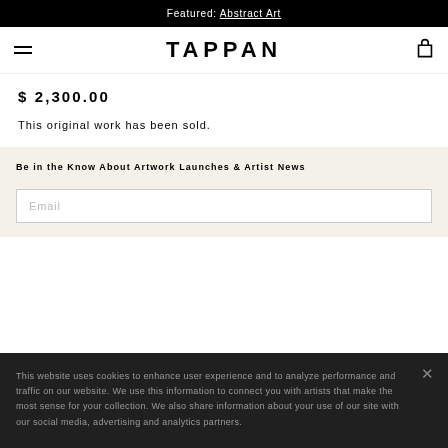Featured: Abstract Art
TAPPAN
$ 2,300.00
This original work has been sold.
Be in the Know About Artwork Launches & Artist News
Email
This website uses cookies to enhance user experience and to analyze performance and traffic on our website. We use this information to connect you with artists that make the most sense for your collection. We also share information about your use of our site with our social media, advertising and analytics partners.